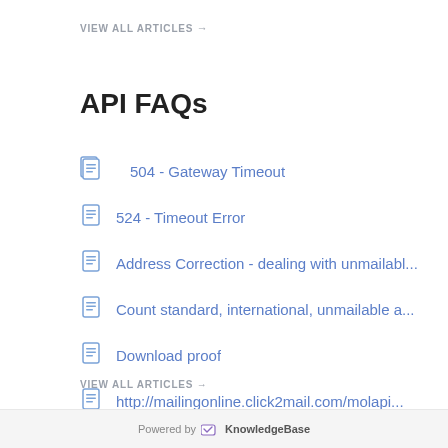VIEW ALL ARTICLES →
API FAQs
504 - Gateway Timeout
524 - Timeout Error
Address Correction - dealing with unmailabl...
Count standard, international, unmailable a...
Download proof
http://mailingonline.click2mail.com/molapi...
VIEW ALL ARTICLES →
Powered by KnowledgeBase